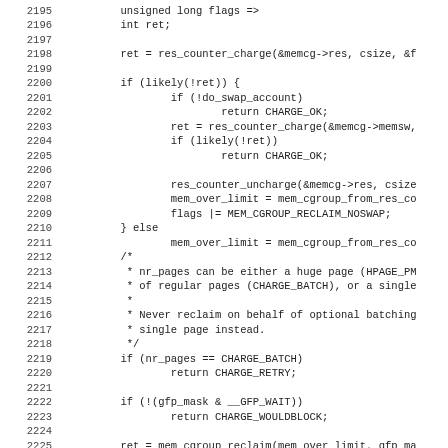[Figure (other): Source code listing (C/Linux kernel), lines 2195-2227, showing memory cgroup charge logic including res_counter_charge, do_swap_account, CHARGE_OK, CHARGE_RETRY, CHARGE_WOULDBLOCK, mem_cgroup_reclaim function calls and comments about nr_pages and batching.]